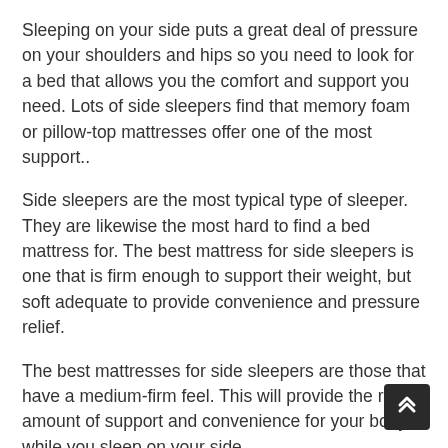Sleeping on your side puts a great deal of pressure on your shoulders and hips so you need to look for a bed that allows you the comfort and support you need. Lots of side sleepers find that memory foam or pillow-top mattresses offer one of the most support..
Side sleepers are the most typical type of sleeper. They are likewise the most hard to find a bed mattress for. The best mattress for side sleepers is one that is firm enough to support their weight, but soft adequate to provide convenience and pressure relief.
The best mattresses for side sleepers are those that have a medium-firm feel. This will provide the right amount of support and convenience for your body while you sleep on your side.